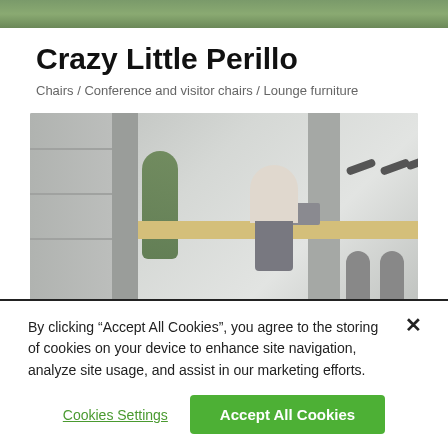[Figure (photo): Top strip of a product/outdoor photo, partially cropped]
Crazy Little Perillo
Chairs / Conference and visitor chairs / Lounge furniture
[Figure (photo): Office workspace scene showing a woman working at a standing desk with laptop, with stools, a plant, shelving, and wall-mounted lamp fixtures. Gray and neutral tones throughout.]
By clicking “Accept All Cookies”, you agree to the storing of cookies on your device to enhance site navigation, analyze site usage, and assist in our marketing efforts.
Cookies Settings
Accept All Cookies